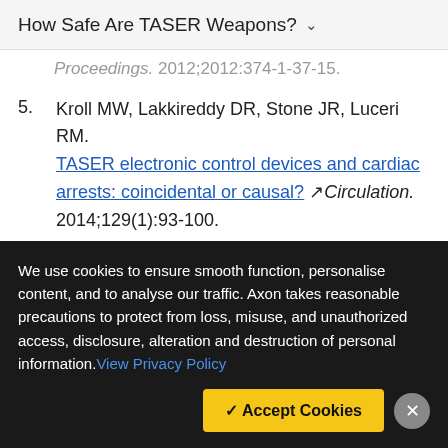How Safe Are TASER Weapons? ∨
Proceedings. 2012;2012:374-1-37-15.
5. Kroll MW, Lakkireddy DR, Stone JR, Luceri RM. TASER electronic control devices and cardiac arrests: coincidental or causal? Circulation. 2014;129(1):93-100.
6. Kroll MW, Lakkireddy DR, Stone JR, Luceri RM. TASER electronic control devices and cardiac
We use cookies to ensure smooth function, personalise content, and to analyse our traffic. Axon takes reasonable precautions to protect from loss, misuse, and unauthorized access, disclosure, alteration and destruction of personal information. View Privacy Policy
✓ Accept Cookies